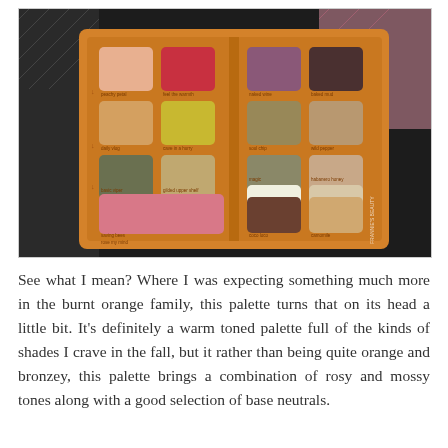[Figure (photo): An open eyeshadow palette with an orange/amber wooden-look cover, showing multiple rows of eyeshadow pans in various colors including pinks, reds, mauves, dark browns, yellows, olive/khaki greens, shimmers, cream/white, mauve/rose, and a large pink shade. The palette is resting on a black and white patterned fabric with a pink throw visible.]
See what I mean? Where I was expecting something much more in the burnt orange family, this palette turns that on its head a little bit. It's definitely a warm toned palette full of the kinds of shades I crave in the fall, but it rather than being quite orange and bronzey, this palette brings a combination of rosy and mossy tones along with a good selection of base neutrals.